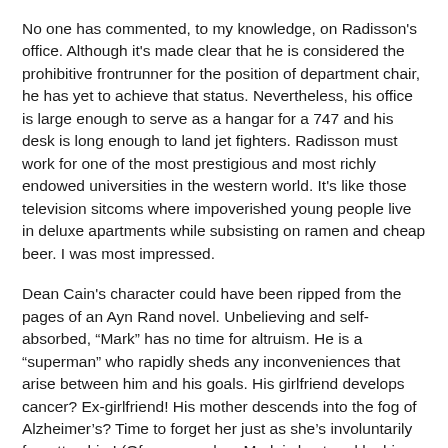No one has commented, to my knowledge, on Radisson's office. Although it's made clear that he is considered the prohibitive frontrunner for the position of department chair, he has yet to achieve that status. Nevertheless, his office is large enough to serve as a hangar for a 747 and his desk is long enough to land jet fighters. Radisson must work for one of the most prestigious and most richly endowed universities in the western world. It's like those television sitcoms where impoverished young people live in deluxe apartments while subsisting on ramen and cheap beer. I was most impressed.
Dean Cain's character could have been ripped from the pages of an Ayn Rand novel. Unbelieving and self-absorbed, “Mark” has no time for altruism. He is a “superman” who rapidly sheds any inconveniences that arise between him and his goals. His girlfriend develops cancer? Ex-girlfriend! His mother descends into the fog of Alzheimer’s? Time to forget her just as she’s involuntarily forgotten him! (Of course, when Mark is hectored by his sister into paying Mom a visit in the nursing home, Mom manages to emerge from her dementia just long enough to deliver a lucid little sermonette to shame her unbelieving son. A miracle!)